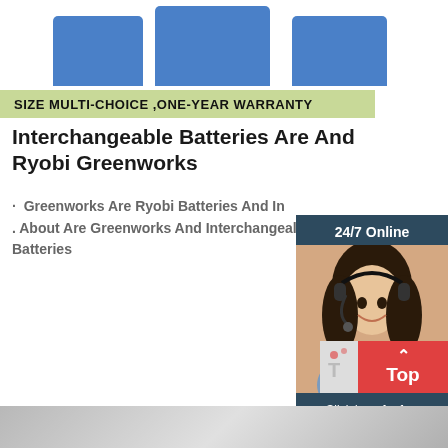[Figure (photo): Blue rectangular battery boxes/products shown from above on white background]
SIZE MULTI-CHOICE ,ONE-YEAR WARRANTY
Interchangeable Batteries Are And Ryobi Greenworks
· Greenworks Are Ryobi Batteries And In . About Are Greenworks And Interchangeable Batteries
[Figure (infographic): 24/7 Online chat widget with photo of female customer service agent, 'Click here for free chat!' text and orange QUOTATION button]
[Figure (infographic): Red 'Top' scroll-to-top button with upward arrow, with partial background icon]
[Figure (photo): Gray surface/background strip at the bottom of the page]